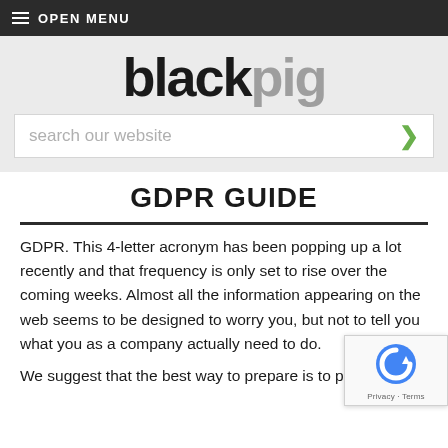≡ OPEN MENU
[Figure (logo): blackpig logo in large bold text, 'black' in dark and 'pig' in grey]
search our website
GDPR GUIDE
GDPR. This 4-letter acronym has been popping up a lot recently and that frequency is only set to rise over the coming weeks. Almost all the information appearing on the web seems to be designed to worry you, but not to tell you what you as a company actually need to do.
We suggest that the best way to prepare is to press on and